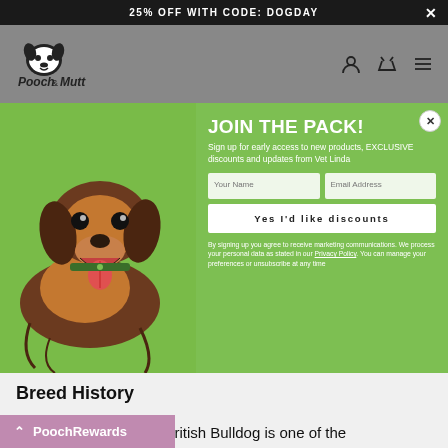25% OFF WITH CODE: DOGDAY
[Figure (logo): Pooch & Mutt logo with cartoon dog face]
[Figure (photo): Long-haired dachshund dog on green background, mouth open, tongue out]
JOIN THE PACK!
Sign up for early access to new products, EXCLUSIVE discounts and updates from Vet Linda
Your Name
Email Address
Yes I'd like discounts
By signing up you agree to receive marketing communications. We process your personal data as stated in our Privacy Policy. You can manage your preferences or unsubscribe at any time
Breed History
Did you know that the British Bulldog is one of the breeds and has been around since the
PoochRewards